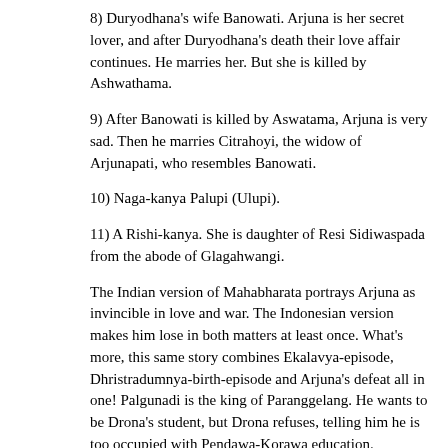8) Duryodhana's wife Banowati. Arjuna is her secret lover, and after Duryodhana's death their love affair continues. He marries her. But she is killed by Ashwathama.
9) After Banowati is killed by Aswatama, Arjuna is very sad. Then he marries Citrahoyi, the widow of Arjunapati, who resembles Banowati.
10) Naga-kanya Palupi (Ulupi).
11) A Rishi-kanya. She is daughter of Resi Sidiwaspada from the abode of Glagahwangi.
The Indian version of Mahabharata portrays Arjuna as invincible in love and war. The Indonesian version makes him lose in both matters at least once. What's more, this same story combines Ekalavya-episode, Dhristradumnya-birth-episode and Arjuna's defeat all in one! Palgunadi is the king of Paranggelang. He wants to be Drona's student, but Drona refuses, telling him he is too occupied with Pendawa-Korawa education. Palgunadi through meditation creates a statue of Drona. He makes self-training diligently, accompanied by his faithful and beautiful wife, Dewi Anggraini. Later Drona, upon seeing, Palgunadi's expertise agrees to recognize him as his student. Arjuna challenges Palgunadi to a duel but is defeated. Arjuna protests. Drona is afraid to lose his job in Hastina and by trickery he seeks Palgunadi's ring heirloom called Roning